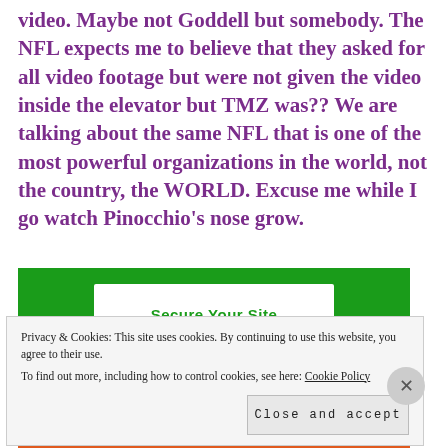video. Maybe not Goddell but somebody. The NFL expects me to believe that they asked for all video footage but were not given the video inside the elevator but TMZ was?? We are talking about the same NFL that is one of the most powerful organizations in the world, not the country, the WORLD. Excuse me while I go watch Pinocchio's nose grow.
[Figure (screenshot): Green advertisement banner with white inner box showing 'Secure Your Site' text]
Privacy & Cookies: This site uses cookies. By continuing to use this website, you agree to their use. To find out more, including how to control cookies, see here: Cookie Policy
Close and accept